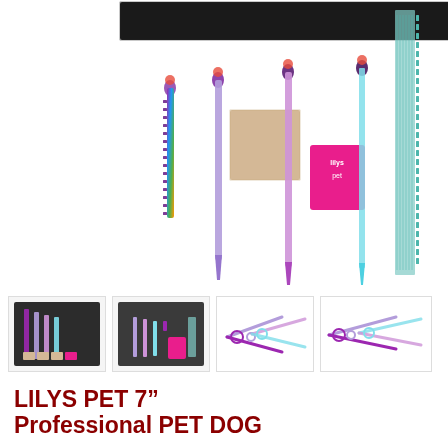[Figure (photo): Main product photo showing four rainbow/iridescent pet grooming scissors arranged in a black leather case with a cleaning cloth and pink brand tag reading 'lilys pet', plus a metal comb on the right side. White background.]
[Figure (photo): Thumbnail 1: grooming scissors set in black case with colorful accessories and pink card]
[Figure (photo): Thumbnail 2: scissors set laid out on dark background showing all pieces including pink card]
[Figure (photo): Thumbnail 3: two rainbow-colored pet grooming scissors open on white background]
[Figure (photo): Thumbnail 4: two rainbow-colored pet grooming scissors on white background, slightly different angle]
[Figure (photo): Thumbnail 5: single rainbow-colored grooming scissors open on white background]
[Figure (photo): Thumbnail 6: curved rainbow-colored grooming scissors with pink tag on white background]
LILYS PET 7" Professional PET DOG